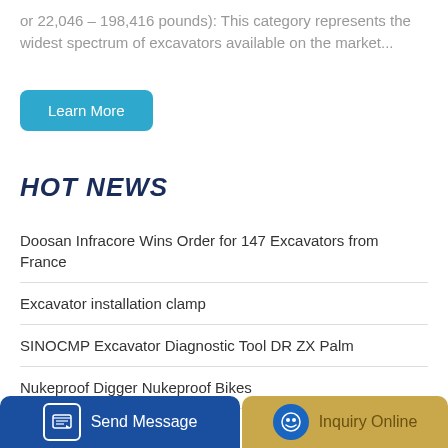or 22,046 – 198,416 pounds): This category represents the widest spectrum of excavators available on the market...
Learn More
HOT NEWS
Doosan Infracore Wins Order for 147 Excavators from France
Excavator installation clamp
SINOCMP Excavator Diagnostic Tool DR ZX Palm
Nukeproof Digger Nukeproof Bikes
Send Message
Inquiry Online